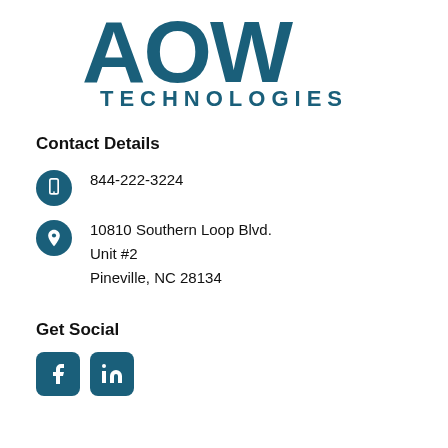[Figure (logo): AOW Technologies logo with large bold letters AOW in dark teal and TECHNOLOGIES below in spaced teal capitals]
Contact Details
844-222-3224
10810 Southern Loop Blvd.
Unit #2
Pineville, NC 28134
Get Social
[Figure (logo): Facebook and LinkedIn social media icon buttons in dark teal rounded squares]